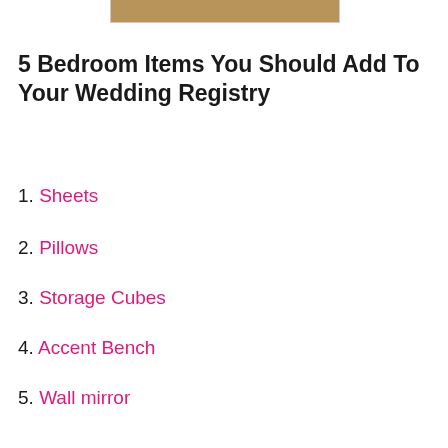[Figure (photo): Partial image of bedroom items at the top of the page, cropped]
5 Bedroom Items You Should Add To Your Wedding Registry
1. Sheets
2. Pillows
3. Storage Cubes
4. Accent Bench
5. Wall mirror
[Figure (screenshot): Gray advertisement area placeholder]
[Figure (screenshot): Bottom advertisement banner: saatva.com Mattress Buying Guide with OPEN button and close X button]